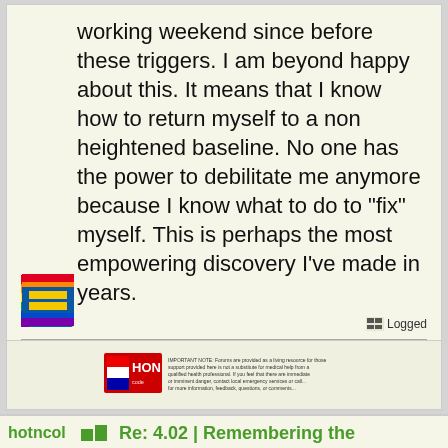working weekend since before these triggers. I am beyond happy about this. It means that I know how to return myself to a non heightened baseline. No one has the power to debilitate me anymore because I know what to do to "fix" myself. This is perhaps the most empowering discovery I've made in years.
Logged
[Figure (logo): Human Rights Campaign equality logo - yellow equals sign on blue background with rainbow stripes]
[Figure (logo): HON (Health on the Net) badge with small text about health information standards]
hotncol
Re: 4.02 | Remembering the